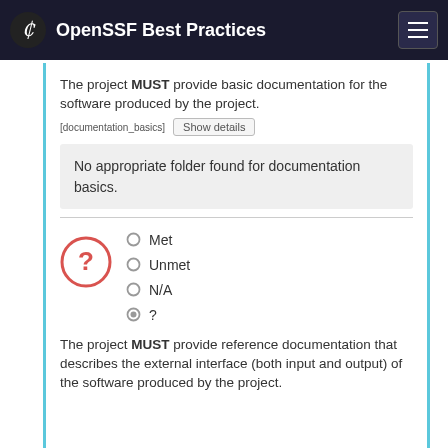OpenSSF Best Practices
The project MUST provide basic documentation for the software produced by the project. [documentation_basics]
No appropriate folder found for documentation basics.
Met
Unmet
N/A
?
The project MUST provide reference documentation that describes the external interface (both input and output) of the software produced by the project.